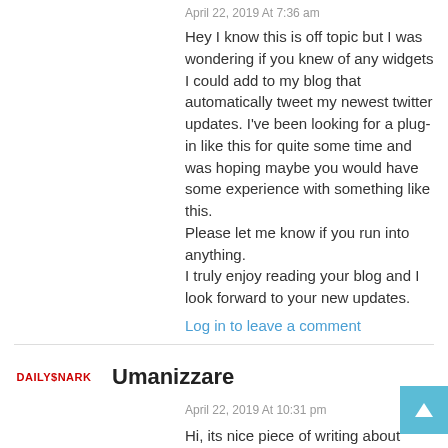April 22, 2019 At 7:36 am
Hey I know this is off topic but I was wondering if you knew of any widgets I could add to my blog that automatically tweet my newest twitter updates. I've been looking for a plug-in like this for quite some time and was hoping maybe you would have some experience with something like this.
Please let me know if you run into anything.
I truly enjoy reading your blog and I look forward to your new updates.
Log in to leave a comment
Umanizzare
April 22, 2019 At 10:31 pm
Hi, its nice piece of writing about media print, we all be familiar with media is a great source of data.
Log in to leave a comment